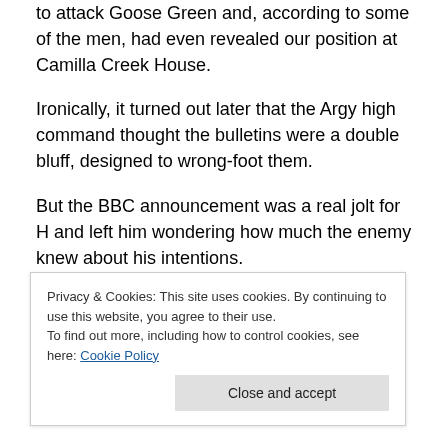to attack Goose Green and, according to some of the men, had even revealed our position at Camilla Creek House.
Ironically, it turned out later that the Argy high command thought the bulletins were a double bluff, designed to wrong-foot them.
But the BBC announcement was a real jolt for H and left him wondering how much the enemy knew about his intentions.
It wasn't his day. The chaos caused by the BBC meant
Privacy & Cookies: This site uses cookies. By continuing to use this website, you agree to their use.
To find out more, including how to control cookies, see here: Cookie Policy